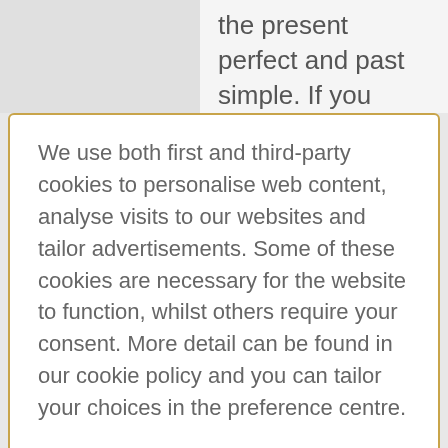the present perfect and past simple. If you
We use both first and third-party cookies to personalise web content, analyse visits to our websites and tailor advertisements. Some of these cookies are necessary for the website to function, whilst others require your consent. More detail can be found in our cookie policy and you can tailor your choices in the preference centre.
Accept All Cookies
Cookies Settings